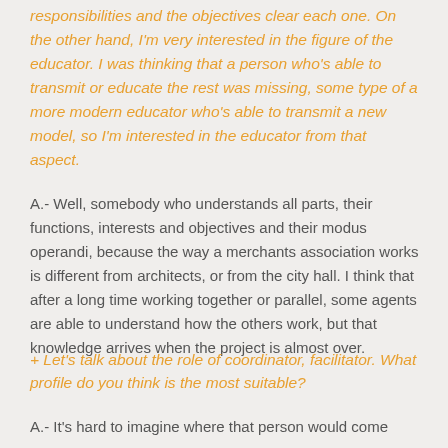responsibilities and the objectives clear each one. On the other hand, I'm very interested in the figure of the educator. I was thinking that a person who's able to transmit or educate the rest was missing, some type of a more modern educator who's able to transmit a new model, so I'm interested in the educator from that aspect.
A.- Well, somebody who understands all parts, their functions, interests and objectives and their modus operandi, because the way a merchants association works is different from architects, or from the city hall. I think that after a long time working together or parallel, some agents are able to understand how the others work, but that knowledge arrives when the project is almost over.
+ Let's talk about the role of coordinator, facilitator. What profile do you think is the most suitable?
A.- It's hard to imagine where that person would come from.